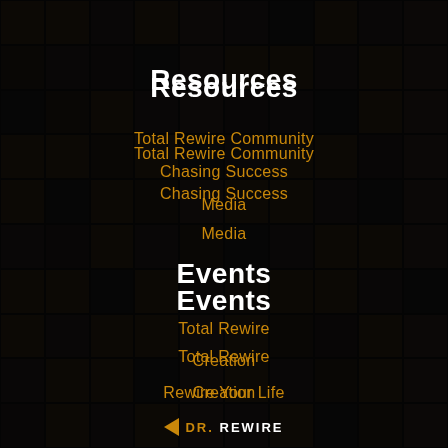[Figure (photo): Dark mosaic background of many small photo thumbnails of people, overlaid with dark translucent layer]
Resources
Total Rewire Community
Chasing Success
Media
Events
Total Rewire
Creation
Rewire Your Life
[Figure (logo): Dr. Rewire logo with orange triangle arrow and text DR. REWIRE]
© 2022 Dr. Rewire | DASH Enterprises Inc.
Home | Privacy Policy and Terms | Contact